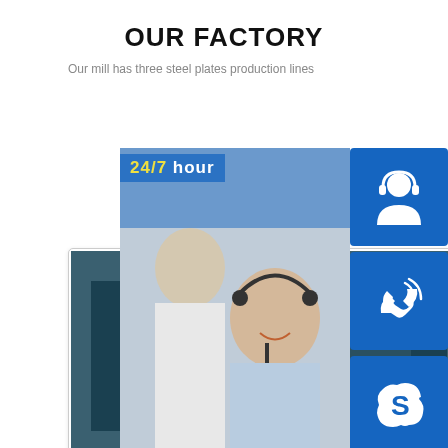OUR FACTORY
Our mill has three steel plates production lines
[Figure (photo): Steel plate production line with hot rolled orange glowing steel plate on industrial roller conveyors, yellow gantry structure, Danieli equipment]
STEEL PLATE
PRODUCTION LINE
[Figure (photo): Another factory interior view with stacked steel materials, dark industrial setting]
[Figure (photo): Customer service representatives with headsets, 24/7 hour support panel, with blue icons: person/headset icon, phone icon, Skype icon, and Click to chat button]